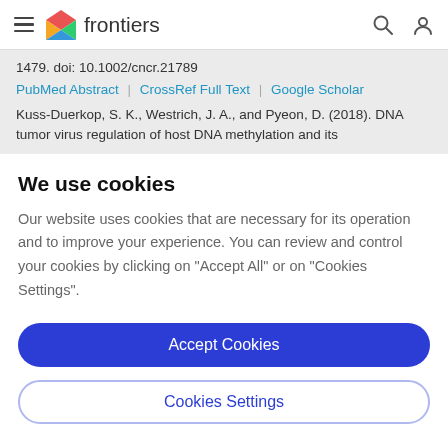frontiers
1479. doi: 10.1002/cncr.21789
PubMed Abstract | CrossRef Full Text | Google Scholar
Kuss-Duerkop, S. K., Westrich, J. A., and Pyeon, D. (2018). DNA tumor virus regulation of host DNA methylation and its
We use cookies
Our website uses cookies that are necessary for its operation and to improve your experience. You can review and control your cookies by clicking on "Accept All" or on "Cookies Settings".
Accept Cookies
Cookies Settings